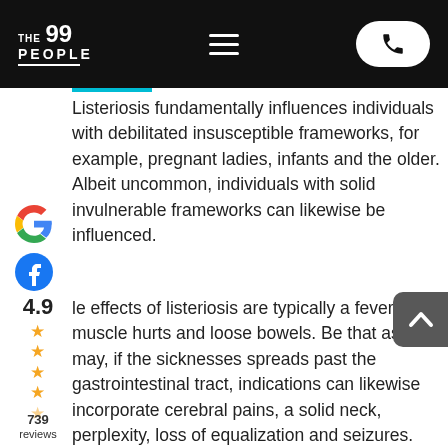THE 99 PEOPLE — navigation header with logo, menu, and phone button
Listeriosis fundamentally influences individuals with debilitated insusceptible frameworks, for example, pregnant ladies, infants and the older. Albeit uncommon, individuals with solid invulnerable frameworks can likewise be influenced.
[Figure (logo): Google G logo icon]
[Figure (logo): Facebook F logo icon (blue circle)]
4.9
739 reviews
The effects of listeriosis are typically a fever, muscle hurts and loose bowels. Be that as it may, if the sicknesses spreads past the gastrointestinal tract, indications can likewise incorporate cerebral pains, a solid neck, perplexity, loss of equalization and seizures. For pregnant ladies, contracting listeriosis can now and again lead to unsuccessful